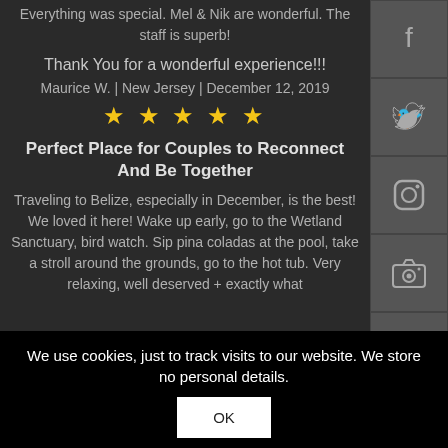Everything was special. Mel & Nik are wonderful. The staff is superb!
Thank You for a wonderful experience!!!
Maurice W. | New Jersey | December 12, 2019
[Figure (other): Five yellow star rating]
Perfect Place for Couples to Reconnect And Be Together
Traveling to Belize, especially in December, is the best! We loved it here! Wake up early, go to the Wetland Sanctuary, bird watch. Sip pina coladas at the pool, take a stroll around the grounds, go to the hot tub. Very relaxing, well deserved + exactly what
[Figure (other): Facebook social media icon button]
[Figure (other): Twitter social media icon button]
[Figure (other): Instagram social media icon button]
[Figure (other): Camera/photo icon button]
[Figure (other): YouTube icon button]
[Figure (other): Apple/App Store icon button]
We use cookies, just to track visits to our website. We store no personal details.
OK